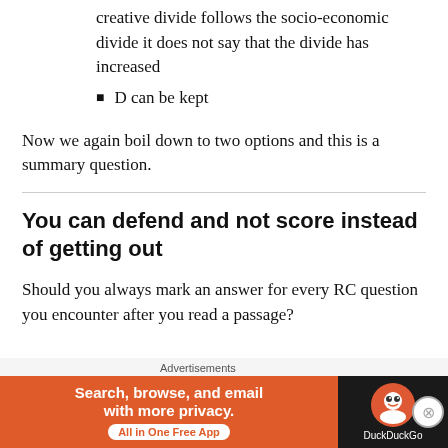creative divide follows the socio-economic divide it does not say that the divide has increased
D can be kept
Now we again boil down to two options and this is a summary question.
You can defend and not score instead of getting out
Should you always mark an answer for every RC question you encounter after you read a passage?
[Figure (infographic): DuckDuckGo advertisement banner: orange section with 'Search, browse, and email with more privacy. All in One Free App' and dark section with DuckDuckGo logo]